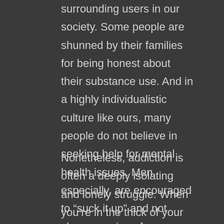surrounding users in our society. Some people are shunned by their families for being honest about their substance use. And in a highly individualistic culture like ours, many people do not believe in seeking help for mental health issues. Men, especially, are encouraged to "suck it up" and not show any sign of weakness or emotional vulnerability.
Nonetheless, addiction is often a deeply isolating and lonely struggle. When you're in the thick of your habit, you may find yourself ignoring basic obligations and letting